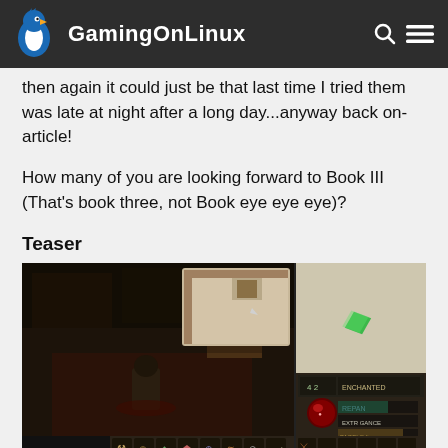GamingOnLinux
then again it could just be that last time I tried them was late at night after a long day...anyway back on-article!
How many of you are looking forward to Book III (That's book three, not Book eye eye eye)?
Teaser
[Figure (screenshot): Screenshot of an isometric RPG game (Avernum/Spiderweb Software style) showing a dark dungeon interior on the left panel, a minimap with a green gem on the right panel, character stats UI, inventory bar at the bottom, and a text log at the bottom.]